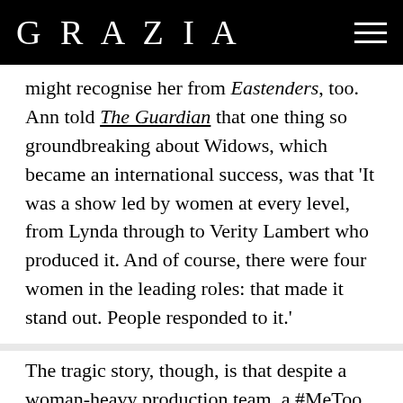GRAZIA
might recognise her from Eastenders, too. Ann told The Guardian that one thing so groundbreaking about Widows, which became an international success, was that 'It was a show led by women at every level, from Lynda through to Verity Lambert who produced it. And of course, there were four women in the leading roles: that made it stand out. People responded to it.'
The tragic story, though, is that despite a woman-heavy production team, a #MeToo story lies at the heart of the ITV series. Eva Mottley,